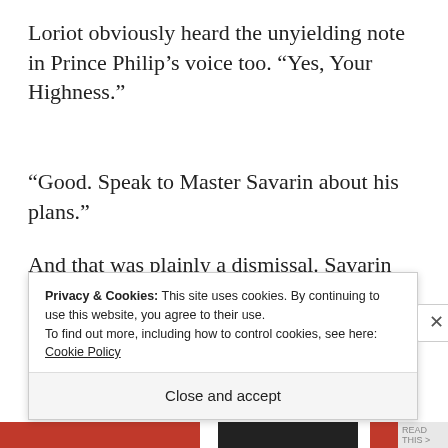Loriot obviously heard the unyielding note in Prince Philip’s voice too. “Yes, Your Highness.”
“Good. Speak to Master Savarin about his plans.”
And that was plainly a dismissal. Savarin was
Privacy & Cookies: This site uses cookies. By continuing to use this website, you agree to their use.
To find out more, including how to control cookies, see here: Cookie Policy
Close and accept